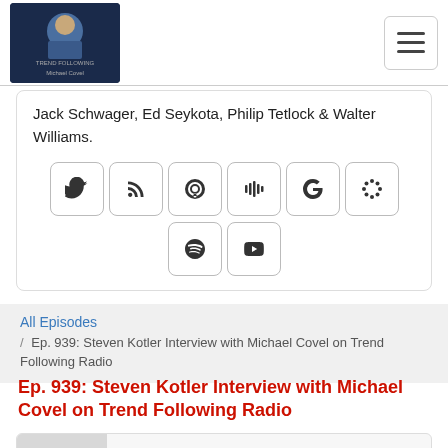Trend Following Michael Covel - logo and hamburger menu
Jack Schwager, Ed Seykota, Philip Tetlock & Walter Williams.
[Figure (other): Row of social media icon buttons: Twitter, RSS, Podcast, Stitcher, Google, Google Podcasts, Spotify, YouTube]
All Episodes
/ Ep. 939: Steven Kotler Interview with Michael Covel on Trend Following Radio
Ep. 939: Steven Kotler Interview with Michael Covel on Trend Following Radio
[Figure (screenshot): Podcast player card showing MICHAEL COVEL'S TREND FOLLOWING, episode title Ep. 939: Steven Kotler Interview with Michael..., play button and audio progress bar]